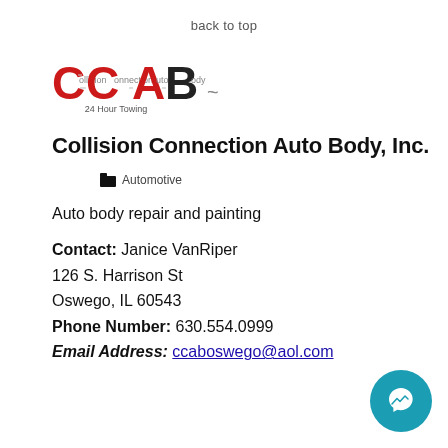back to top
[Figure (logo): CCAB Collision Connection Auto Body logo with 24 Hour Towing text, letters in red and black]
Collision Connection Auto Body, Inc.
Automotive
Auto body repair and painting
Contact: Janice VanRiper
126 S. Harrison St
Oswego, IL 60543
Phone Number: 630.554.0999
Email Address: ccaboswego@aol.com